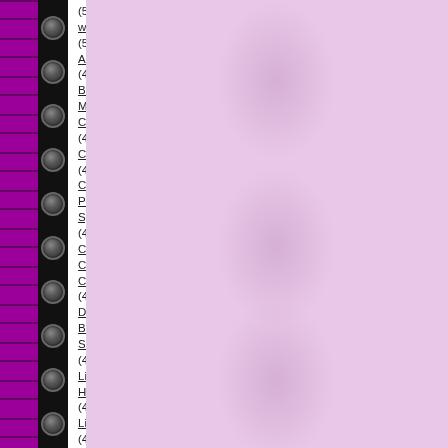(5) winter (5) August (4) Bearly Mine Challenges (4) CPS (4) Card Positioning Systems (4) Cupcake Craft Challenge (4) Dilly Beans Stamps (4) Lil Hauntings (4) Lilith (4) Little Honeys (4) Luka (4) Papertake Weekly (4) Sami Stamps (4) Thanksgiving (4) The Greeting Farm (4) Tom Boyz (4) blog-iversary (4) i {heart} 2 stamp (4) i {heart} sketches (4) monthly recap (4) recap (4) sympathy (4) teasers (4) 40th (3) A and T Digital Designs (3) Addicted to Stamps (3) Annie Rodrigue (3) Aurora Wings (3) CLP (3) Camp Create (3) Clear Dollar Stamps (3) Crazy 4 Challenges (3) Faith (3) Feeling Sketchy (3) Ivy (3) Kit and Clowder (3) Krafty Peeks (3) Lil Easter (3) Lil Little Lolitas (3) Lil Party (3) New Year (3) Paper Sundaes Challenges (3) Shelly's Images (3) SugarPea Designs (3) The Crazy Challenge (3) The East Wind (3) Tim Holtz (3) Villains (3) center step card (3) progressive relay (3) smash book (3) vampire (3) zombie (3) ATC (2) All That Scraps (2) Audrey (2) Batman (2) CAS(E) this Sketch (2) Card Makin' Mamas (2) Cards and Things Challenges (2) Ching-Chou Kuik (2) Christina (2) Christmas Card Challenges (2) Crafting When We Can (2) Create with TLC (2) Creative Inspirations (2) Dude Time Doodles
[Figure (illustration): Right side decorative panel with pink/lavender damask floral pattern background and black scalloped border with metallic button studs]